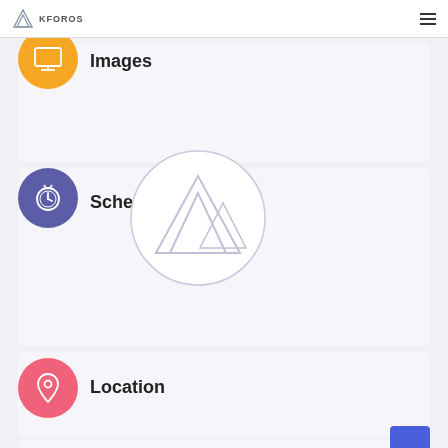KFOROS
[Figure (screenshot): Orange circle icon with presentation/monitor symbol]
Images
[Figure (screenshot): Indigo circle icon with stopwatch/schedule symbol]
Schedule
[Figure (logo): Watermark circle with Kforos triangle logo]
[Figure (screenshot): Pink circle icon with location pin symbol]
Location